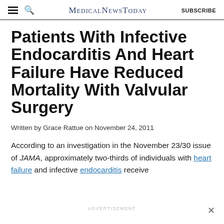MedicalNewsToday  SUBSCRIBE
Patients With Infective Endocarditis And Heart Failure Have Reduced Mortality With Valvular Surgery
Written by Grace Rattue on November 24, 2011
According to an investigation in the November 23/30 issue of JAMA, approximately two-thirds of individuals with heart failure and infective endocarditis receive
ADVERTISEMENT